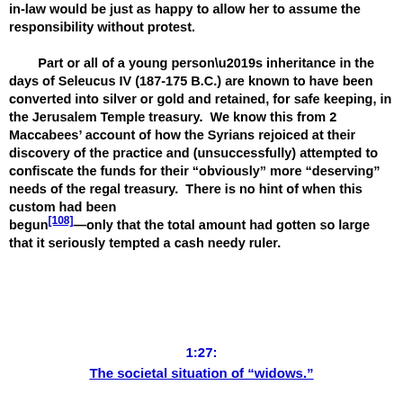in-law would be just as happy to allow her to assume the responsibility without protest.

Part or all of a young person’s inheritance in the days of Seleucus IV (187-175 B.C.) are known to have been converted into silver or gold and retained, for safe keeping, in the Jerusalem Temple treasury.  We know this from 2 Maccabees’ account of how the Syrians rejoiced at their discovery of the practice and (unsuccessfully) attempted to confiscate the funds for their “obviously” more “deserving” needs of the regal treasury.  There is no hint of when this custom had been begun[108]—only that the total amount had gotten so large that it seriously tempted a cash needy ruler.
1:27:
The societal situation of “widows.”